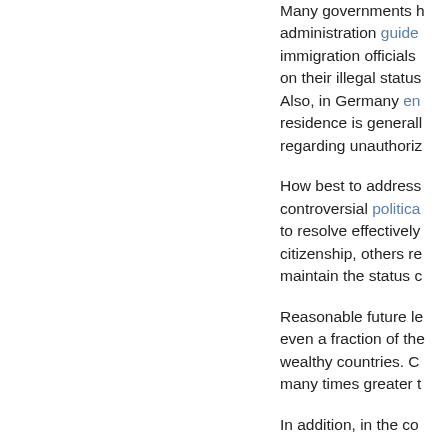Many governments have administration guidelines for immigration officials to act on their illegal status. Also, in Germany enforcement of residence is generally lenient regarding unauthorized...
How best to address the controversial political issues to resolve effectively citizenship, others re... maintain the status c...
Reasonable future le... even a fraction of the wealthy countries. C... many times greater t...
In addition, in the co...